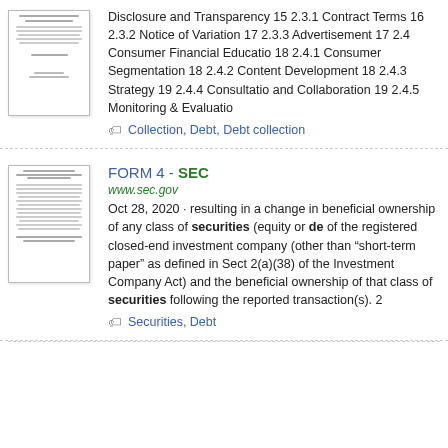Disclosure and Transparency 15 2.3.1 Contract Terms 16 2.3.2 Notice of Variation 17 2.3.3 Advertisement 17 2.4 Consumer Financial Education 18 2.4.1 Consumer Segmentation 18 2.4.2 Content Development 18 2.4.3 Strategy 19 2.4.4 Consultation and Collaboration 19 2.4.5 Monitoring & Evaluation
Collection, Debt, Debt collection
FORM 4 - SEC
www.sec.gov
Oct 28, 2020 · resulting in a change in beneficial ownership of any class of securities (equity or de of the registered closed-end investment company (other than "short-term paper" as defined in Sect 2(a)(38) of the Investment Company Act) and the beneficial ownership of that class of securities following the reported transaction(s). 2
Securities, Debt